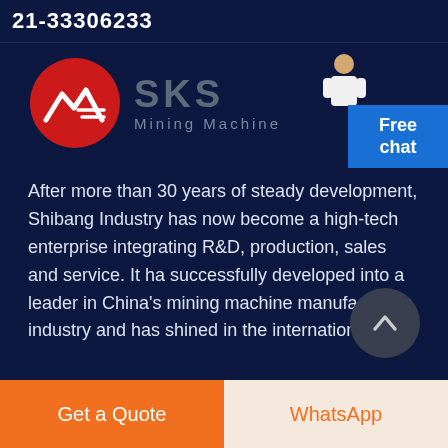21-33306233
[Figure (logo): SKS Mining Machine logo with red circle containing stylized mountain/wave icon and SKS text in gray]
Free chat
After more than 30 years of steady development, Shibang Industry has now become a high-tech enterprise integrating R&D, production, sales and service. It has successfully developed into a leader in China's mining machine manufacturing industry and has shined in the international
Get a Quote
WhatsApp